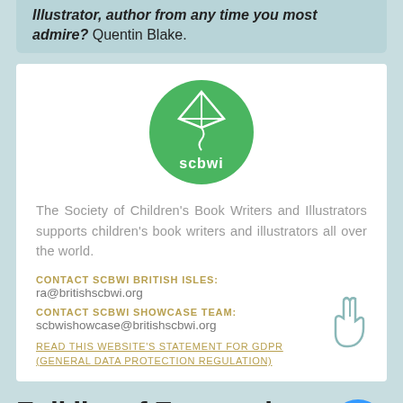Illustrator, author from any time you most admire? Quentin Blake.
[Figure (logo): SCBWI green circular logo with kite and seahorse design]
The Society of Children's Book Writers and Illustrators supports children's book writers and illustrators all over the world.
CONTACT SCBWI BRITISH ISLES:
ra@britishscbwi.org
CONTACT SCBWI SHOWCASE TEAM:
scbwishowcase@britishscbwi.org
READ THIS WEBSITE'S STATEMENT FOR GDPR (GENERAL DATA PROTECTION REGULATION)
Full list of Featured Illustrator Galleries